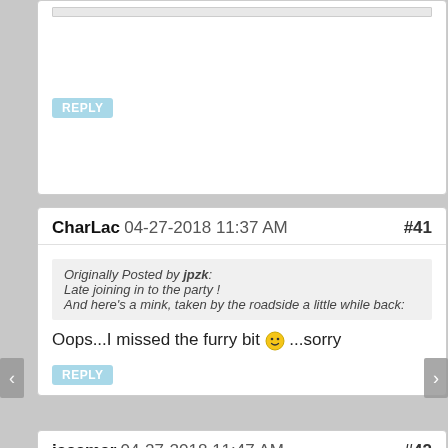REPLY
CharLac 04-27-2018 11:37 AM #41
Originally Posted by jpzk:
Late joining in to the party !
And here's a mink, taken by the roadside a little while back:
Oops...I missed the furry bit 🙂 ...sorry
REPLY
jacamar 04-27-2018 11:47 AM #42
I've heard of a furry trout (a taxidermist's creation, said to inhabit the deepest, coldest reaches of Scottish lochs), but never a furry snake! Killarney also has Massasaugas, which are actually poisonous, though quite docile. There are lots of good snake shots in the reptiles thread: